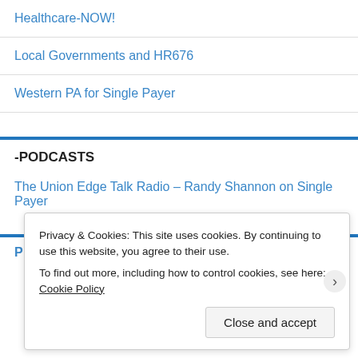Healthcare-NOW!
Local Governments and HR676
Western PA for Single Payer
-PODCASTS
The Union Edge Talk Radio – Randy Shannon on Single Payer
Privacy & Cookies: This site uses cookies. By continuing to use this website, you agree to their use.
To find out more, including how to control cookies, see here: Cookie Policy
Close and accept